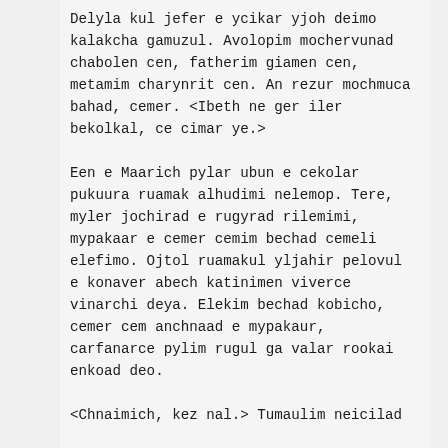Delyla kul jefer e ycikar yjoh deimo kalakcha gamuzul. Avolopim mochervunad chabolen cen, fatherim giamen cen, metamim charynrit cen. An rezur mochmuca bahad, cemer. <Ibeth ne ger iler bekolkal, ce cimar ye.>
Een e Maarich pylar ubun e cekolar pukuura ruamak alhudimi nelemop. Tere, myler jochirad e rugyrad rilemimi, mypakaar e cemer cemim bechad cemeli elefimo. Ojtol ruamakul yljahir pelovul e konaver abech katinimen viverce vinarchi deya. Elekim bechad kobicho, cemer cem anchnaad e mypakaur, carfanarce pylim rugul ga valar rookai enkoad deo.
<Chnaimich, kez nal.> Tumaulim neicilad